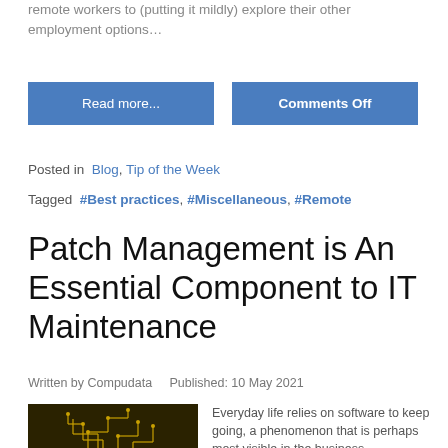remote workers to (putting it mildly) explore their other employment options…
Read more...
Comments Off
Posted in  Blog, Tip of the Week
Tagged  #Best practices, #Miscellaneous, #Remote
Patch Management is An Essential Component to IT Maintenance
Written by Compudata    Published: 10 May 2021
[Figure (photo): Circuit board with gold traces on dark background]
Everyday life relies on software to keep going, a phenomenon that is perhaps most visible in the business